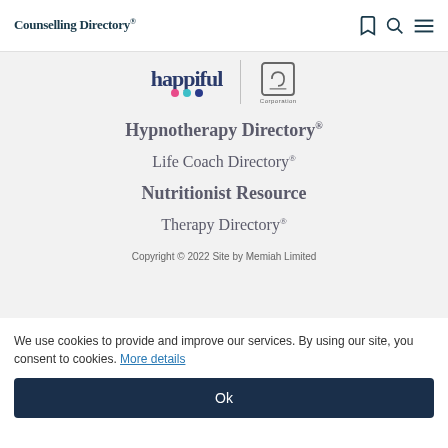Counselling Directory
[Figure (logo): happiful logo with coloured dots and a B Corporation logo]
Hypnotherapy Directory
Life Coach Directory
Nutritionist Resource
Therapy Directory
Copyright © 2022 Site by Memiah Limited
We use cookies to provide and improve our services. By using our site, you consent to cookies. More details
Ok